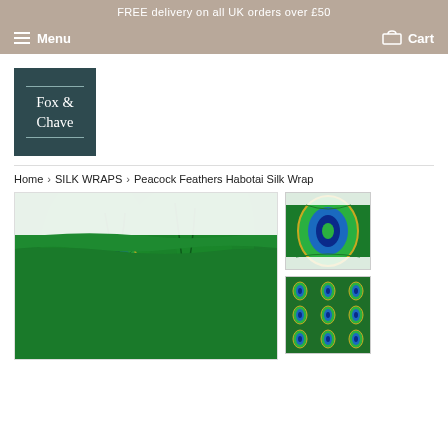FREE delivery on all UK orders over £50
Menu  Cart
[Figure (logo): Fox & Chave brand logo: dark teal square with white serif text reading Fox & Chave with decorative lines]
Home › SILK WRAPS › Peacock Feathers Habotai Silk Wrap
[Figure (photo): Main product photo: draped peacock feathers patterned silk wrap with vivid blue, green, and gold circular feather eye motifs]
[Figure (photo): Thumbnail 1: folded peacock feathers silk wrap showing blue-green and gold feather pattern]
[Figure (photo): Thumbnail 2: overhead flat view of peacock feathers silk wrap in deep green with repeating feather eye motif]